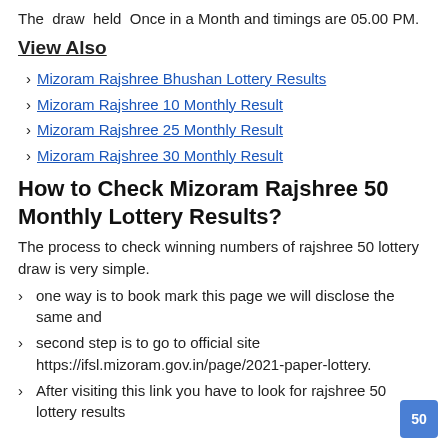The draw held Once in a Month and timings are 05.00 PM.
View Also
Mizoram Rajshree Bhushan Lottery Results
Mizoram Rajshree 10 Monthly Result
Mizoram Rajshree 25 Monthly Result
Mizoram Rajshree 30 Monthly Result
How to Check Mizoram Rajshree 50 Monthly Lottery Results?
The process to check winning numbers of rajshree 50 lottery draw is very simple.
one way is to book mark this page we will disclose the same and
second step is to go to official site https://ifsl.mizoram.gov.in/page/2021-paper-lottery.
After visiting this link you have to look for rajshree 50 lottery results